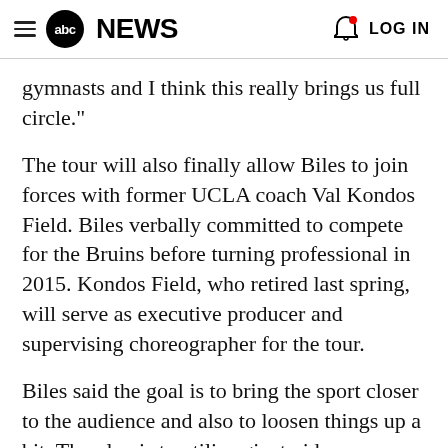abc NEWS  LOG IN
gymnasts and I think this really brings us full circle."
The tour will also finally allow Biles to join forces with former UCLA coach Val Kondos Field. Biles verbally committed to compete for the Bruins before turning professional in 2015. Kondos Field, who retired last spring, will serve as executive producer and supervising choreographer for the tour.
Biles said the goal is to bring the sport closer to the audience and also to loosen things up a bit. The plan is to utilize giant video screens, pyrotechnics and an in-house DJ...